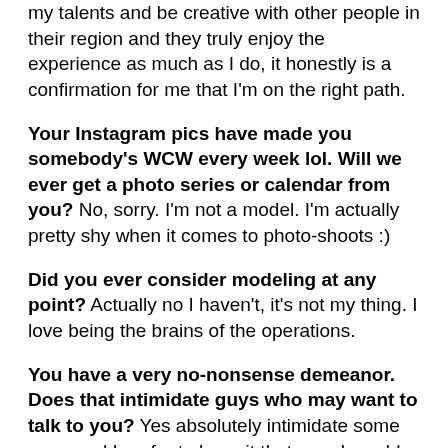my talents and be creative with other people in their region and they truly enjoy the experience as much as I do, it honestly is a confirmation for me that I'm on the right path.
Your Instagram pics have made you somebody's WCW every week lol. Will we ever get a photo series or calendar from you? No, sorry. I'm not a model. I'm actually pretty shy when it comes to photo-shoots :)
Did you ever consider modeling at any point? Actually no I haven't, it's not my thing. I love being the brains of the operations.
You have a very no-nonsense demeanor. Does that intimidate guys who may want to talk to you? Yes absolutely intimidate some men, and I prefer to keep it that way. I would